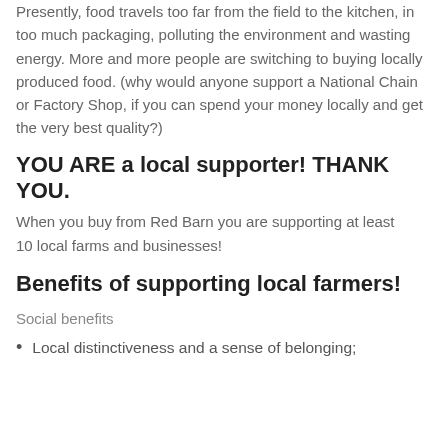Presently, food travels too far from the field to the kitchen, in too much packaging, polluting the environment and wasting energy. More and more people are switching to buying locally produced food. (why would anyone support a National Chain or Factory Shop, if you can spend your money locally and get the very best quality?)
YOU ARE a local supporter! THANK YOU.
When you buy from Red Barn you are supporting at least
10 local farms and businesses!
Benefits of supporting local farmers!
Social benefits
Local distinctiveness and a sense of belonging;